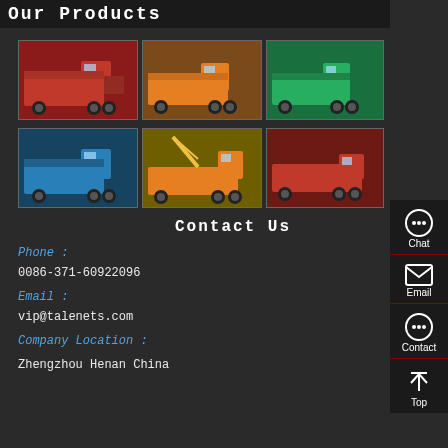Our Products
[Figure (photo): Red dump truck - product photo 1]
[Figure (photo): Red dump truck - product photo 2]
[Figure (photo): Green dump truck - product photo 3]
[Figure (photo): Blue dump truck - product photo 4]
[Figure (photo): Orange crane/tractor truck - product photo 5]
[Figure (photo): Red tractor truck - product photo 6]
Contact Us
Phone :
0086-371-60922096
Email :
vip@talenets.com
Company Location :
Zhengzhou Henan China